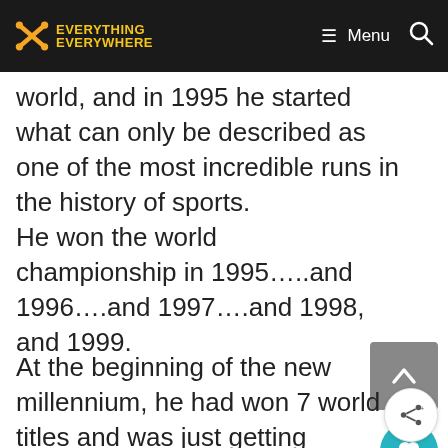Everything Everywhere — Menu (navigation bar)
world, and in 1995 he started what can only be described as one of the most incredible runs in the history of sports.
He won the world championship in 1995…..and 1996….and 1997….and 1998, and 1999.
At the beginning of the new millennium, he had won 7 world titles and was just getting warmed up.